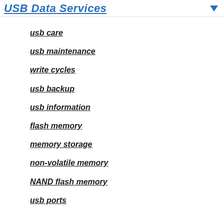USB Data Services
usb care
usb maintenance
write cycles
usb backup
usb information
flash memory
memory storage
non-volatile memory
NAND flash memory
usb ports